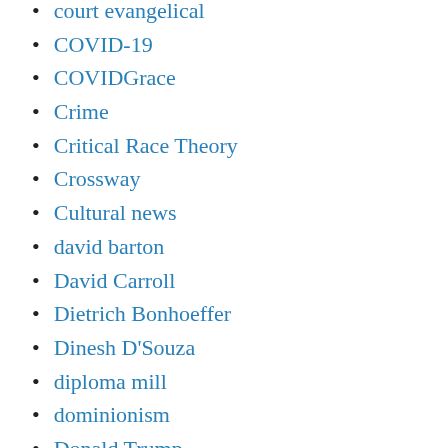court evangelical
COVID-19
COVIDGrace
Crime
Critical Race Theory
Crossway
Cultural news
david barton
David Carroll
Dietrich Bonhoeffer
Dinesh D'Souza
diploma mill
dominionism
Donald Trump
Ecclesia College
ECFA
economy